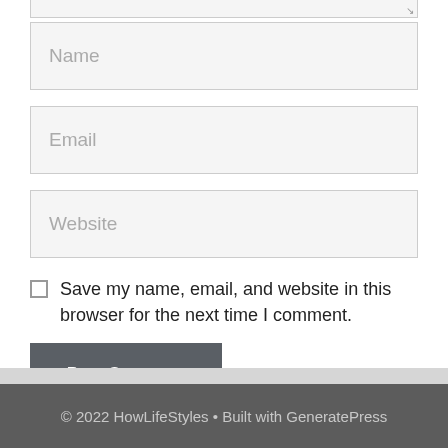[Figure (screenshot): Partial text area input field (top edge only visible) with resize handle in bottom-right corner]
Name
Email
Website
Save my name, email, and website in this browser for the next time I comment.
Post Comment
© 2022 HowLifeStyles • Built with GeneratePress